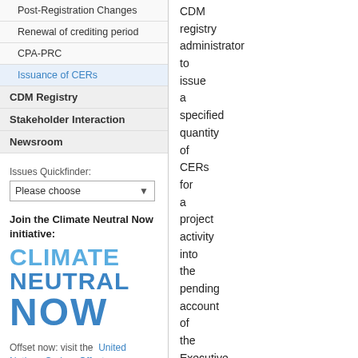Post-Registration Changes
Renewal of crediting period
CPA-PRC
Issuance of CERs
CDM Registry
Stakeholder Interaction
Newsroom
Issues Quickfinder:
Join the Climate Neutral Now initiative:
[Figure (logo): Climate Neutral Now logo with large stylized text in blue: CLIMATE NEUTRAL NOW]
Offset now: visit the United Nations Carbon Offset
CDM registry administrator to issue a specified quantity of CERs for a project activity into the pending account of the Executive Board in the CDM registry, in accordance with paragraph 66 and Appendix